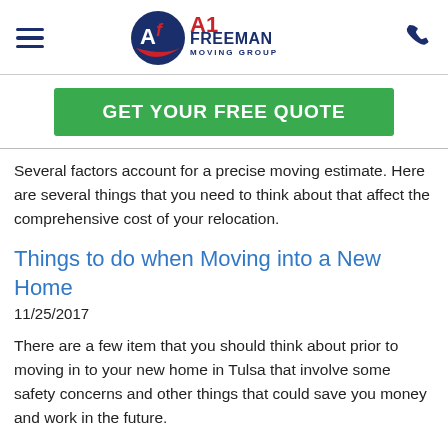A1 Freeman Moving Group
[Figure (logo): A1 Freeman Moving Group logo with circular AF emblem in red and navy blue, and phone icon on the right]
GET YOUR FREE QUOTE
Several factors account for a precise moving estimate. Here are several things that you need to think about that affect the comprehensive cost of your relocation.
Things to do when Moving into a New Home
11/25/2017
There are a few item that you should think about prior to moving in to your new home in Tulsa that involve some safety concerns and other things that could save you money and work in the future.